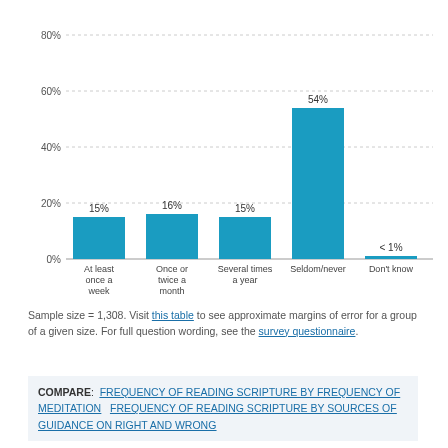[Figure (bar-chart): ]
Sample size = 1,308. Visit this table to see approximate margins of error for a group of a given size. For full question wording, see the survey questionnaire.
COMPARE: FREQUENCY OF READING SCRIPTURE BY FREQUENCY OF MEDITATION   FREQUENCY OF READING SCRIPTURE BY SOURCES OF GUIDANCE ON RIGHT AND WRONG